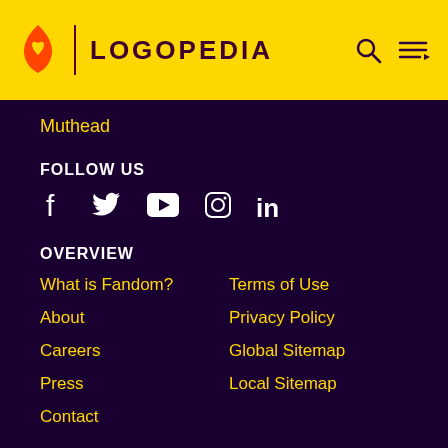LOGOPEDIA
Muthead
FOLLOW US
[Figure (illustration): Social media icons: Facebook, Twitter, YouTube, Instagram, LinkedIn]
OVERVIEW
What is Fandom?
Terms of Use
About
Privacy Policy
Careers
Global Sitemap
Press
Local Sitemap
Contact